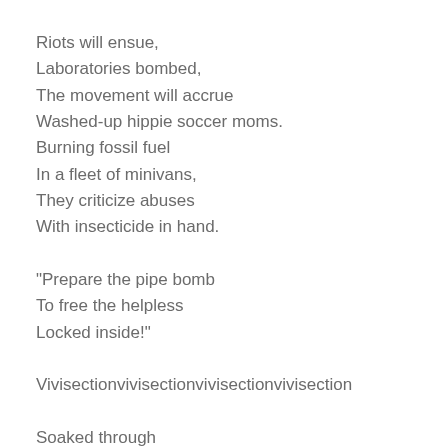Riots will ensue,
Laboratories bombed,
The movement will accrue
Washed-up hippie soccer moms.
Burning fossil fuel
In a fleet of minivans,
They criticize abuses
With insecticide in hand.

"Prepare the pipe bomb
To free the helpless
Locked inside!"

Vivisectionvivisectionvivisectionvivisection

Soaked through
With blood,